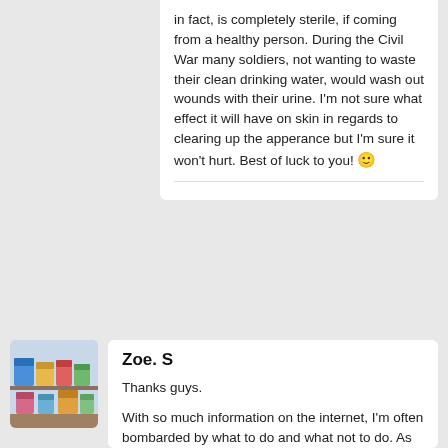in fact, is completely sterile, if coming from a healthy person. During the Civil War many soldiers, not wanting to waste their clean drinking water, would wash out wounds with their urine. I'm not sure what effect it will have on skin in regards to clearing up the apperance but I'm sure it won't hurt. Best of luck to you! 🙂
Zoe. S
Thanks guys.

With so much information on the internet, I'm often bombarded by what to do and what not to do. As much as I'm embarrassed to admit, I think I will start the UT tomorrow but only externally. I'm always up for new experiences so scoff f you will but if it turns out well, I'll tell you all about it.

As for the dandruff. i'll suggest the coconut oil. I use it everyday on my body, so it's very accessible. If need be i'll attack my partner when he's asleep and lease expecting it!!!